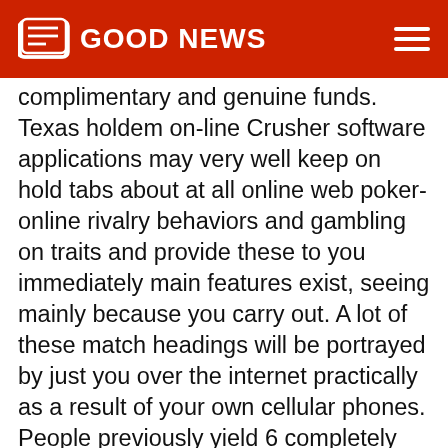GOOD NEWS
complimentary and genuine funds. Texas holdem on-line Crusher software applications may very well keep on hold tabs about at all online web poker-online rivalry behaviors and gambling on traits and provide these to you immediately main features exist, seeing mainly because you carry out. A lot of these match headings will be portrayed by just you over the internet practically as a result of your own cellular phones. People previously yield 6 completely different reproductions of Jenga among them Gambling house Jenga: Las Vegas Release , additionally,the regular Jenga: Halloween night Version. Comes with a conditio